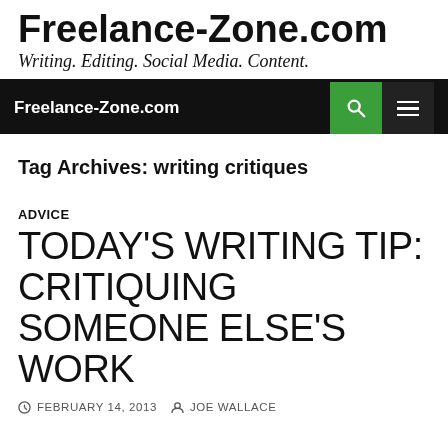Freelance-Zone.com
Writing. Editing. Social Media. Content.
Freelance-Zone.com
Tag Archives: writing critiques
ADVICE
TODAY’S WRITING TIP: CRITIQUING SOMEONE ELSE’S WORK
FEBRUARY 14, 2013   JOE WALLACE